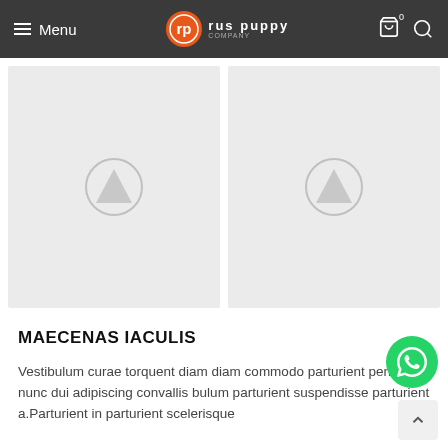Menu | rus puppy | 0 | Search
[Figure (photo): Two product placeholder images side by side with grey background and upload/tree icon in center]
MAECENAS IACULIS
Vestibulum curae torquent diam diam commodo parturient penatibus nunc dui adipiscing convallis bulum parturient suspendisse parturient a.Parturient in parturient scelerisque